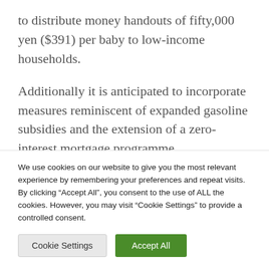to distribute money handouts of fifty,000 yen ($391) per baby to low-income households.
Additionally it is anticipated to incorporate measures reminiscent of expanded gasoline subsidies and the extension of a zero-interest mortgage programme.
The spending can be financed by tapping into reserve funds allotted for emergency
We use cookies on our website to give you the most relevant experience by remembering your preferences and repeat visits. By clicking “Accept All”, you consent to the use of ALL the cookies. However, you may visit “Cookie Settings” to provide a controlled consent.